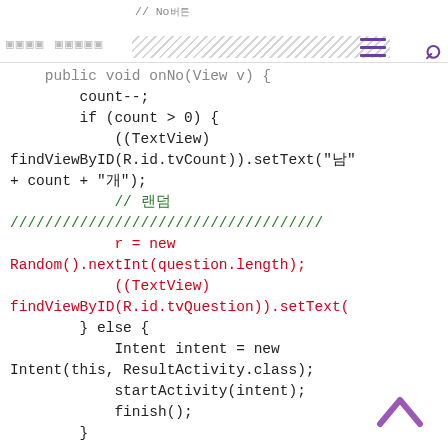// No버튼 [nav bar with Korean text and icons]
[Figure (screenshot): Code snippet showing Android Java method onNo(View v) with count decrement, conditional TextView updates, random question selection, and Intent to ResultActivity]
public void onNo(View v) {
        count--;
        if (count > 0) {
            ((TextView)
findViewById(R.id.tvCount)).setText("남" + count + "개");
            // 랜덤
            ////////////////////////////////////
            r = new Random().nextInt(question.length);
            ((TextView)
findViewById(R.id.tvQuestion)).setText(
        } else {
            Intent intent = new Intent(this, ResultActivity.class);
            startActivity(intent);
            finish();
        }